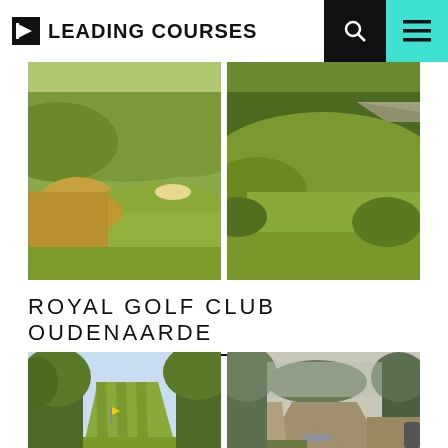LEADING COURSES
[Figure (photo): Golf course fairway with green hills and rough grass]
[Figure (photo): Golf course green fairway with trees in background]
ROYAL GOLF CLUB OUDENAARDE
[Figure (photo): Golf course fairway lined with tall trees on a sunny day]
[Figure (photo): Golf course path with trees and overcast sky]